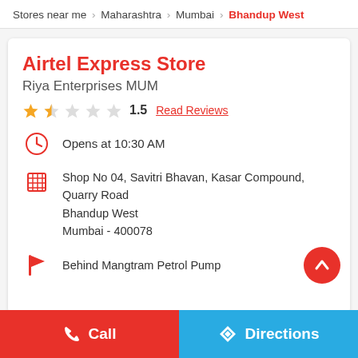Stores near me > Maharashtra > Mumbai > Bhandup West
Airtel Express Store
Riya Enterprises MUM
★★½☆☆ 1.5  Read Reviews
Opens at 10:30 AM
Shop No 04, Savitri Bhavan, Kasar Compound, Quarry Road
Bhandup West
Mumbai - 400078
Behind Mangtram Petrol Pump
Call  Directions